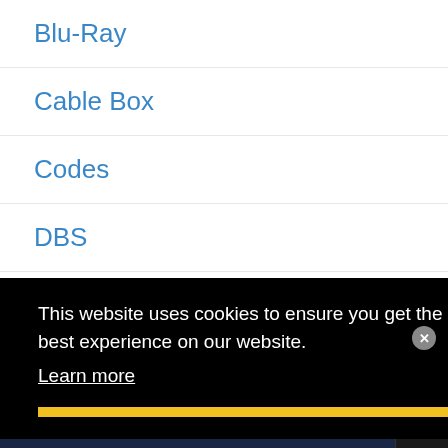Blu-Ray
Cable Box
Codes
DBS
DVD
DVR
This website uses cookies to ensure you get the best experience on our website.
Learn more
Faster emergency response. Under $1/day.
Get a quote SimpliSafe